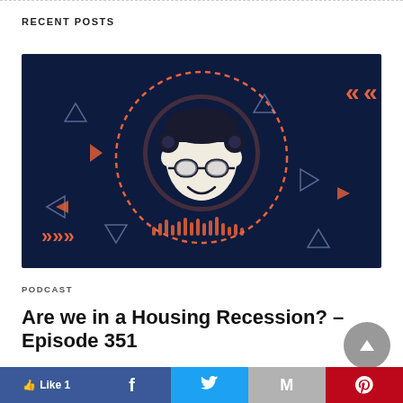RECENT POSTS
[Figure (illustration): Podcast cover art showing an animated cartoon face of a man with round glasses and headphones, centered inside a dotted orange circle with audio waveform bars at the bottom, set against a dark navy background with orange arrow/triangle decorative elements scattered around]
PODCAST
Are we in a Housing Recession? – Episode 351
In this episode of Adam Talks, IRA Financial's Adam Bergman Esq.